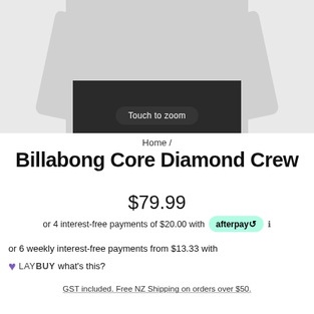[Figure (photo): Person wearing a light grey Billabong Core Diamond Crew sweatshirt with black pants, hands in pockets. Overlay reads 'Touch to zoom'.]
Home /
Billabong Core Diamond Crew
$79.99
or 4 interest-free payments of $20.00 with afterpay
or 6 weekly interest-free payments from $13.33 with LAYBUY what's this?
GST included. Free NZ Shipping on orders over $50.